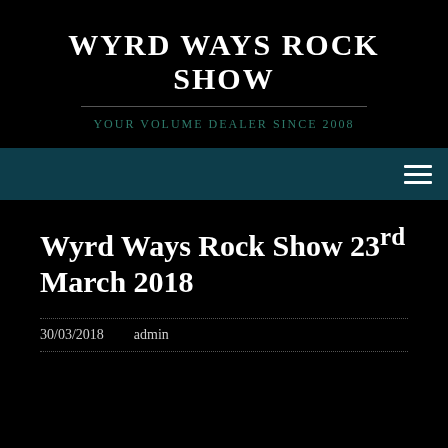WYRD WAYS ROCK SHOW
YOUR VOLUME DEALER SINCE 2008
Wyrd Ways Rock Show 23rd March 2018
30/03/2018   admin